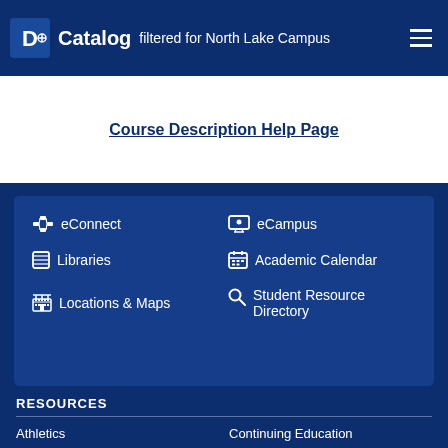Catalog filtered for North Lake Campus
Course Description Help Page
eConnect
eCampus
Libraries
Academic Calendar
Locations & Maps
Student Resource Directory
RESOURCES
Athletics
Continuing Education
Bookstore
Financial Aid